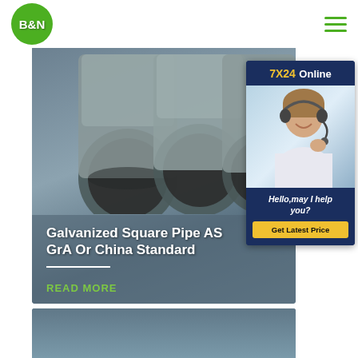B&N
[Figure (photo): Photo of galvanized square pipes showing circular cross-sections, displayed on a grey-blue background overlay card with title text]
Galvanized Square Pipe AS GrA Or China Standard
READ MORE
[Figure (photo): Customer service widget showing a young woman with a headset, '7X24 Online' header in navy blue, and 'Hello,may I help you?' message with 'Get Latest Price' yellow button]
[Figure (photo): Partially visible bottom card/preview of another product image]